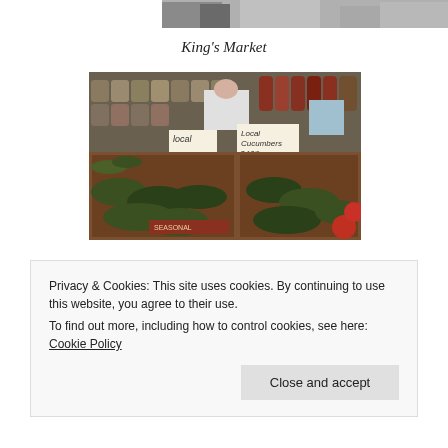[Figure (photo): Top portion of a photo, partially cropped — appears to show people or figures in a market setting, gray/muted tones]
King's Market
[Figure (photo): Interior of a farmers market or local grocery store showing wooden crates filled with cucumbers and other vegetables in the foreground. Shelves with jars, bottles of sauces and preserved goods in the background. Signs read 'Local' and 'Local Cucumbers'. Tomatoes visible at far right. People visible in background.]
Privacy & Cookies: This site uses cookies. By continuing to use this website, you agree to their use.
To find out more, including how to control cookies, see here: Cookie Policy
Close and accept